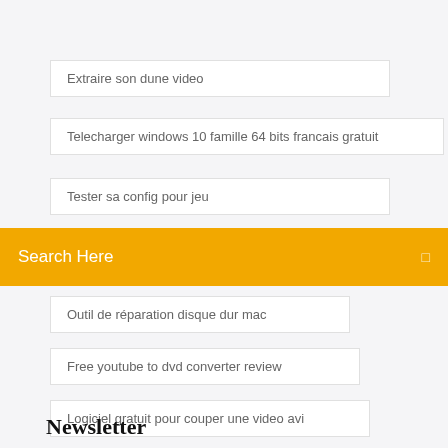Extraire son dune video
Telecharger windows 10 famille 64 bits francais gratuit
Tester sa config pour jeu
Search Here
Outil de réparation disque dur mac
Free youtube to dvd converter review
Logiciel gratuit pour couper une video avi
Newsletter